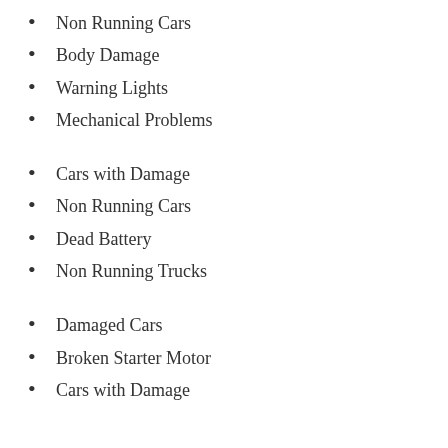Non Running Cars
Body Damage
Warning Lights
Mechanical Problems
Cars with Damage
Non Running Cars
Dead Battery
Non Running Trucks
Damaged Cars
Broken Starter Motor
Cars with Damage